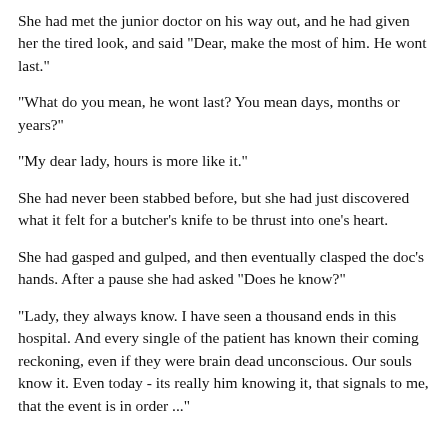She had met the junior doctor on his way out, and he had given her the tired look, and said "Dear, make the most of him. He wont last."
"What do you mean, he wont last? You mean days, months or years?"
"My dear lady, hours is more like it."
She had never been stabbed before, but she had just discovered what it felt for a butcher's knife to be thrust into one's heart.
She had gasped and gulped, and then eventually clasped the doc's hands. After a pause she had asked "Does he know?"
"Lady, they always know. I have seen a thousand ends in this hospital. And every single of the patient has known their coming reckoning, even if they were brain dead unconscious. Our souls know it. Even today - its really him knowing it, that signals to me, that the event is in order ..."